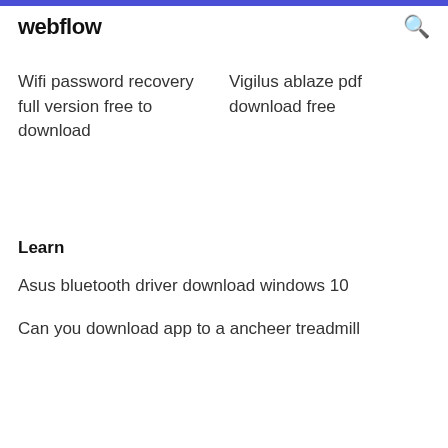webflow
Wifi password recovery full version free to download
Vigilus ablaze pdf download free
Learn
Asus bluetooth driver download windows 10
Can you download app to a ancheer treadmill